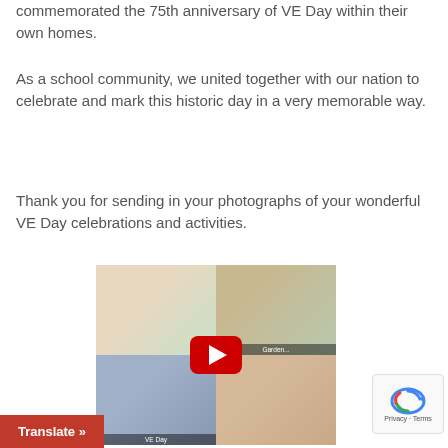commemorated the 75th anniversary of VE Day within their own homes.
As a school community, we united together with our nation to celebrate and mark this historic day in a very memorable way.
Thank you for sending in your photographs of your wonderful VE Day celebrations and activities.
[Figure (screenshot): A YouTube video thumbnail showing a 2x2 grid of photos of children celebrating VE Day in gardens, with a red play button overlay and partial label text 'VE Day... Garden...']
Translate »
Privacy · Terms